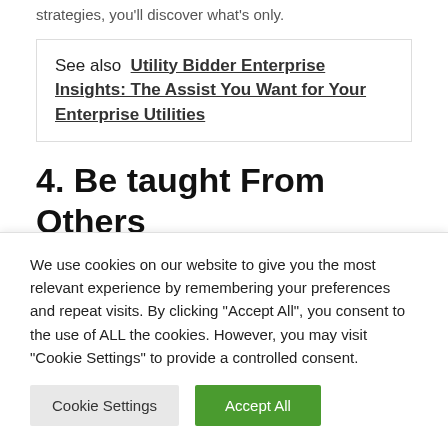strategies, you'll discover what's only.
See also  Utility Bidder Enterprise Insights: The Assist You Want for Your Enterprise Utilities
4. Be taught From Others
Adopting a steady progress outlook begins with skilled improvement. Apply is a major a part of enhancing your corporation administration abilities. Nonetheless, you'll
We use cookies on our website to give you the most relevant experience by remembering your preferences and repeat visits. By clicking "Accept All", you consent to the use of ALL the cookies. However, you may visit "Cookie Settings" to provide a controlled consent.
Cookie Settings | Accept All